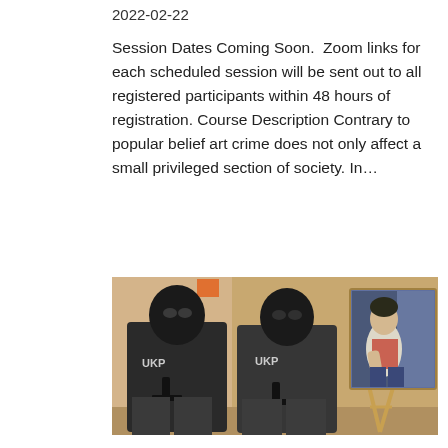2022-02-22
Session Dates Coming Soon.  Zoom links for each scheduled session will be sent out to all registered participants within 48 hours of registration. Course Description Contrary to popular belief art crime does not only affect a small privileged section of society. In...
[Figure (photo): Two figures in black tactical gear and balaclavas with 'UKP' written on their uniforms, holding weapons, seated in front of a wooden panel background with orange brackets. To their right is an easel displaying a painting of a seated figure in a blue and red outfit.]
...